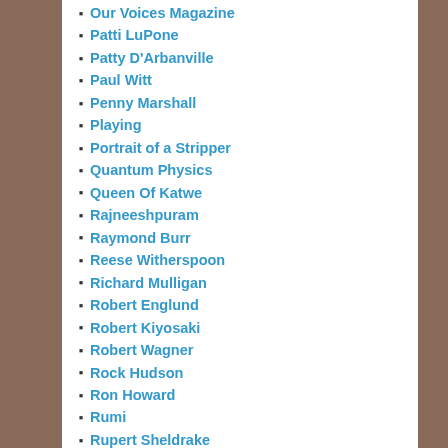Our Voices Magazine
Patti LuPone
Patty D'Arbanville
Paul Witt
Penny Marshall
Playing
Portrait of a Stripper
Quantum Physics
Queen Of Katwe
Rajneeshpuram
Raymond Burr
Reese Witherspoon
Richard Mulligan
Robert Englund
Robert Kiyosaki
Robert Wagner
Rock Hudson
Ron Howard
Rumi
Rupert Sheldrake
SAG
San Diego Ballet Fundraiser